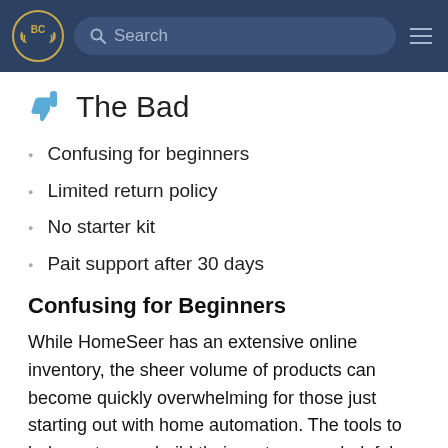BC [logo] Search [hamburger menu]
The Bad
Confusing for beginners
Limited return policy
No starter kit
Pait support after 30 days
Confusing for Beginners
While HomeSeer has an extensive online inventory, the sheer volume of products can become quickly overwhelming for those just starting out with home automation. The tools to help customers build their systems are helpful, but once they